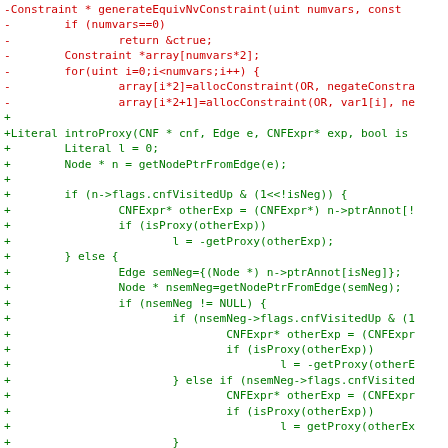[Figure (screenshot): A code diff screenshot showing removed lines in red (prefixed with '-') and added lines in green (prefixed with '+'), displaying C++ source code for constraint generation and introProxy function.]